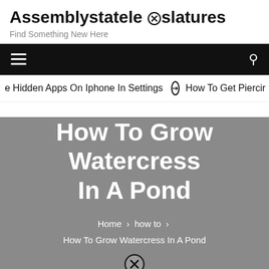Assemblystatelegislatures
Find Something New Here
e Hidden Apps On Iphone In Settings  ➔  How To Get Piercir
How To Grow Watercress In A Pond
Home > how to > How To Grow Watercress In A Pond